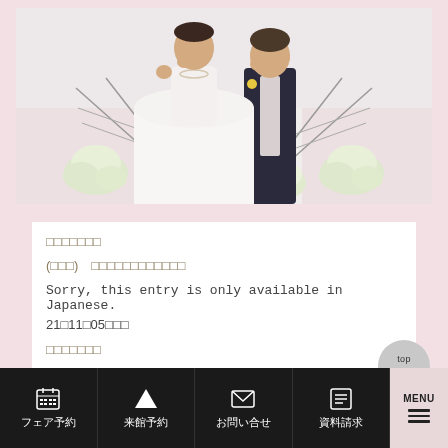[Figure (photo): Wedding photo of a bride in white dress and groom in dark suit, standing together outdoors with white floral arrangements on either side]
□□□□□□□
(□□□)  □□□□□□□□□□□□
Sorry, this entry is only available in Japanese.
21□11□05□□□
□□□□□□□
フェア予約　来館予約　お問い合せ　資料請求　MENU